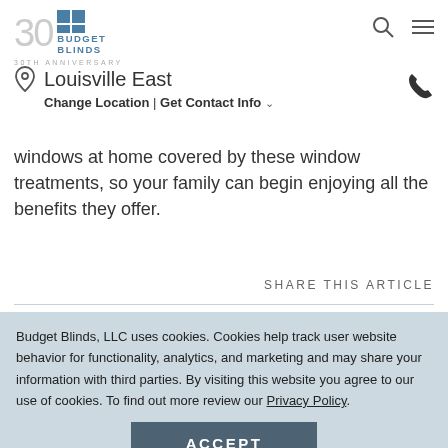Budget Blinds 30th Anniversary — Louisville East — Change Location | Get Contact Info
windows at home covered by these window treatments, so your family can begin enjoying all the benefits they offer.
SHARE THIS ARTICLE
Budget Blinds, LLC uses cookies. Cookies help track user website behavior for functionality, analytics, and marketing and may share your information with third parties. By visiting this website you agree to our use of cookies. To find out more review our Privacy Policy.
ACCEPT